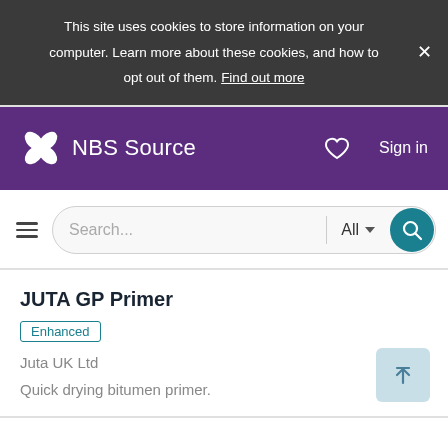This site uses cookies to store information on your computer. Learn more about these cookies, and how to opt out of them. Find out more
[Figure (screenshot): NBS Source website navigation header with purple background, NBS Source logo, heart icon, and Sign in text]
[Figure (screenshot): Search bar with hamburger menu, search input placeholder 'Search...', All dropdown, and teal search button]
JUTA GP Primer
Enhanced
Juta UK Ltd
Quick drying bitumen primer.